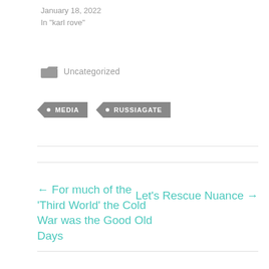January 18, 2022
In "karl rove"
Uncategorized
MEDIA
RUSSIAGATE
← For much of the 'Third World' the Cold War was the Good Old Days
Let's Rescue Nuance →